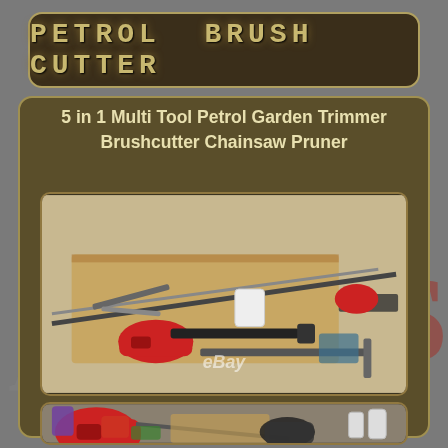PETROL BRUSH CUTTER
5 in 1 Multi Tool Petrol Garden Trimmer Brushcutter Chainsaw Pruner
[Figure (photo): Photo showing petrol brush cutter multi-tool kit with various attachments including hedge trimmer blade, pole, red engine unit, chainsaw bar, and accessories spread out on carpet with eBay watermark]
[Figure (photo): Partial photo showing red brush cutter engine unit and accessories including fuel containers on a workshop floor]